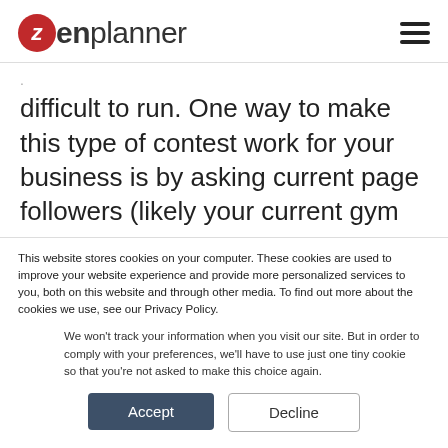[Figure (logo): Zen Planner logo with red circle containing white italic Z and 'zenplanner' text in dark grey]
difficult to run. One way to make this type of contest work for your business is by asking current page followers (likely your current gym
This website stores cookies on your computer. These cookies are used to improve your website experience and provide more personalized services to you, both on this website and through other media. To find out more about the cookies we use, see our Privacy Policy.
We won't track your information when you visit our site. But in order to comply with your preferences, we'll have to use just one tiny cookie so that you're not asked to make this choice again.
Accept
Decline